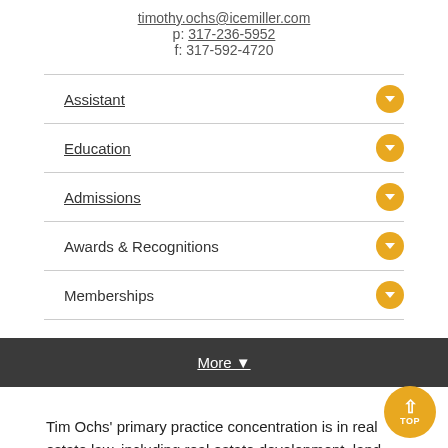timothy.ochs@icemiller.com
p: 317-236-5952
f: 317-592-4720
Assistant
Education
Admissions
Awards & Recognitions
Memberships
More ▼
Tim Ochs' primary practice concentration is in real estate law, including real estate development, land use and zoning, annexation, leasing, and real estate finance. He also is a member